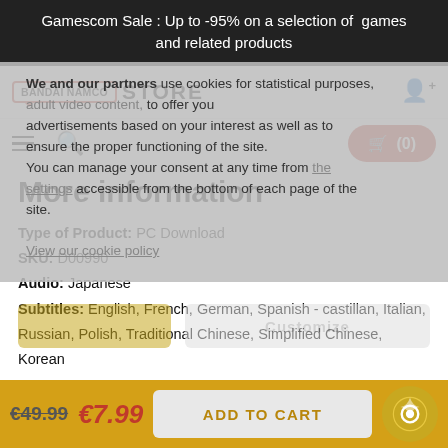Gamescom Sale : Up to -95% on a selection of games and related products
[Figure (logo): Bandai Namco Store logo with nav bar icons]
We and our partners use cookies for statistical purposes, adult video content, to offer you advertisements based on your interest as well as to ensure the proper functioning of the site. You can manage your consent at any time from the settings accessible from the bottom of each page of the site.
View our cookie policy
More information
Type of Product: PC Download
SKU: D00990
Audio: Japanese
Subtitles: English, French, German, Spanish - castillan, Italian, Russian, Polish, Traditional Chinese, Simplified Chinese, Korean
System Requirements
€49.99  €7.99  ADD TO CART